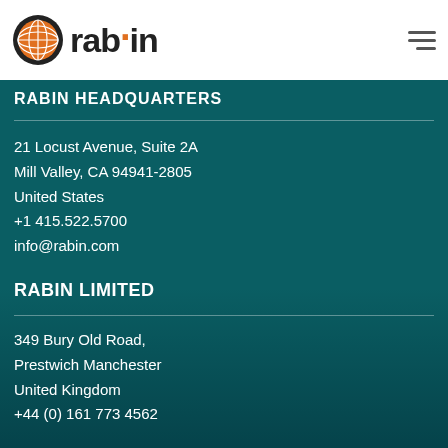[Figure (logo): Rabin company logo: orange globe icon with grid lines inside a black circle, followed by bold text 'rabin' with orange dot over the 'i']
RABIN HEADQUARTERS
21 Locust Avenue, Suite 2A
Mill Valley, CA 94941-2805
United States
+1 415.522.5700
info@rabin.com
RABIN LIMITED
349 Bury Old Road,
Prestwich Manchester
United Kingdom
+44 (0) 161 773 4562